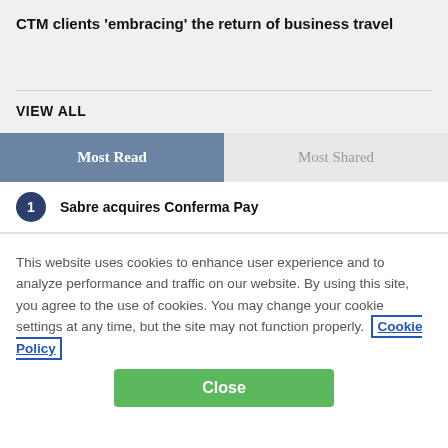CTM clients 'embracing' the return of business travel
VIEW ALL
Most Read
Most Shared
1 Sabre acquires Conferma Pay
This website uses cookies to enhance user experience and to analyze performance and traffic on our website. By using this site, you agree to the use of cookies. You may change your cookie settings at any time, but the site may not function properly. Cookie Policy
Close